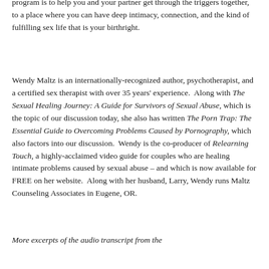program is to help you and your partner get through the triggers together, to a place where you can have deep intimacy, connection, and the kind of fulfilling sex life that is your birthright.
Wendy Maltz is an internationally-recognized author, psychotherapist, and a certified sex therapist with over 35 years' experience.  Along with The Sexual Healing Journey: A Guide for Survivors of Sexual Abuse, which is the topic of our discussion today, she also has written The Porn Trap: The Essential Guide to Overcoming Problems Caused by Pornography, which also factors into our discussion.  Wendy is the co-producer of Relearning Touch, a highly-acclaimed video guide for couples who are healing intimate problems caused by sexual abuse – and which is now available for FREE on her website.  Along with her husband, Larry, Wendy runs Maltz Counseling Associates in Eugene, OR.
More excerpts of the audio transcript from the